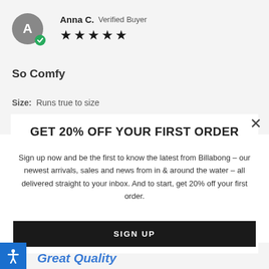Anna C. Verified Buyer ★★★★★
So Comfy
Size: Runs true to size
GET 20% OFF YOUR FIRST ORDER
Sign up now and be the first to know the latest from Billabong – our newest arrivals, sales and news from in & around the water – all delivered straight to your inbox. And to start, get 20% off your first order.
SIGN UP
Great Quality